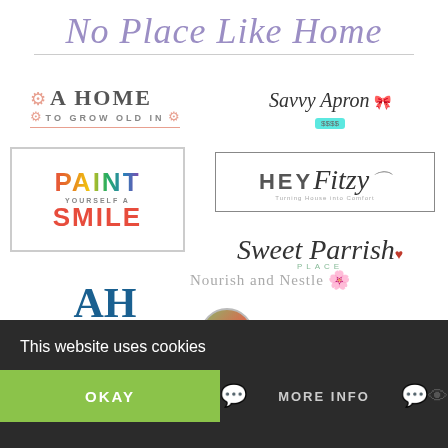No Place Like Home
[Figure (logo): A Home To Grow Old In logo with decorative key ornament in salmon/pink]
[Figure (logo): Savvy Apron logo in cursive script with teal price tag showing $$$]
[Figure (logo): Paint Yourself A Smile logo in colorful bold text inside a bordered box]
[Figure (logo): Hey Fitzy logo in bordered rectangle with script text]
[Figure (logo): Sweet Parrish Place logo in italic script]
[Figure (logo): The Aspiring Home logo with large AH monogram in teal blue]
[Figure (logo): Nourish and Nestle logo in gray serif with flower icon]
[Figure (logo): The Red Painted Cottage logo with circular garden photo]
This website uses cookies
OKAY
MORE INFO